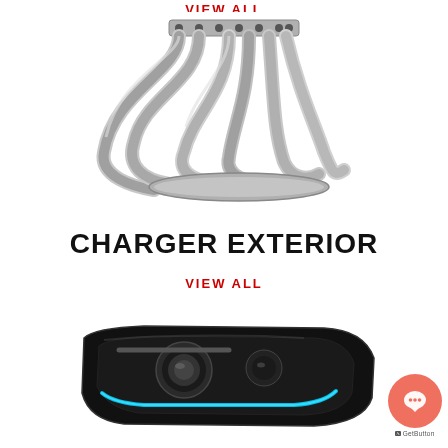VIEW ALL
[Figure (photo): Stainless steel exhaust headers / manifold for a performance vehicle, showing multiple curved tubes merging into collectors]
CHARGER EXTERIOR
VIEW ALL
[Figure (photo): Black LED headlight assembly for a Dodge Charger with blue accent lighting]
[Figure (other): Orange circular chat button with speech bubble icon and GetButton label below]